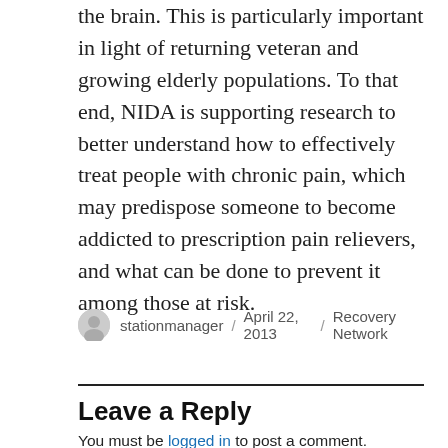the brain. This is particularly important in light of returning veteran and growing elderly populations. To that end, NIDA is supporting research to better understand how to effectively treat people with chronic pain, which may predispose someone to become addicted to prescription pain relievers, and what can be done to prevent it among those at risk.
stationmanager / April 22, 2013 / Recovery Network
Leave a Reply
You must be logged in to post a comment.